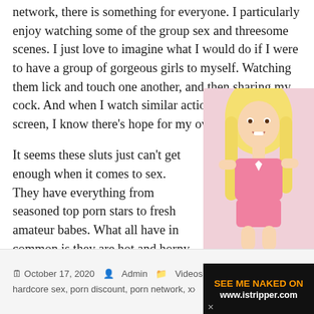network, there is something for everyone. I particularly enjoy watching some of the group sex and threesome scenes. I just love to imagine what I would do if I were to have a group of gorgeous girls to myself. Watching them lick and touch one another, and then sharing my cock. And when I watch similar action go down on screen, I know there's hope for my own stiff dick.
It seems these sluts just can't get enough when it comes to sex. They have everything from seasoned top porn stars to fresh amateur babes. What all have in common is they are hot and horny all, and just waiting for you to watch!
[Figure (photo): Blonde woman in pink lingerie, partially obscured by ad overlay]
October 17, 2020  Admin  Videos  Bang  hardcore sex, porn discount, porn network, xxx vid...